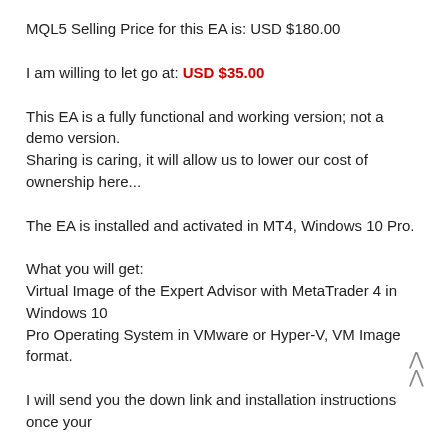MQL5 Selling Price for this EA is: USD $180.00
I am willing to let go at: USD $35.00
This EA is a fully functional and working version; not a demo version.
Sharing is caring, it will allow us to lower our cost of ownership here...
The EA is installed and activated in MT4, Windows 10 Pro.
What you will get:
Virtual Image of the Expert Advisor with MetaTrader 4 in Windows 10
Pro Operating System in VMware or Hyper-V, VM Image format.
I will send you the down link and installation instructions once your